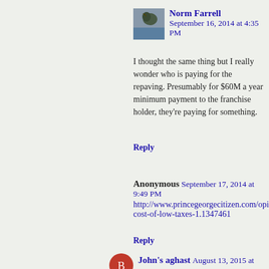[Figure (photo): Avatar photo of Norm Farrell, showing a bird/eagle image]
Norm Farrell
September 16, 2014 at 4:35 PM
I thought the same thing but I really wonder who is paying for the repaving. Presumably for $60M a year minimum payment to the franchise holder, they're paying for something.
Reply
Anonymous September 17, 2014 at 9:49 PM
http://www.princegeorgecitizen.com/opinion/columnists/the-cost-of-low-taxes-1.1347461
Reply
[Figure (illustration): Avatar circle icon for John's aghast, orange/red circle]
John's aghast August 13, 2015 at